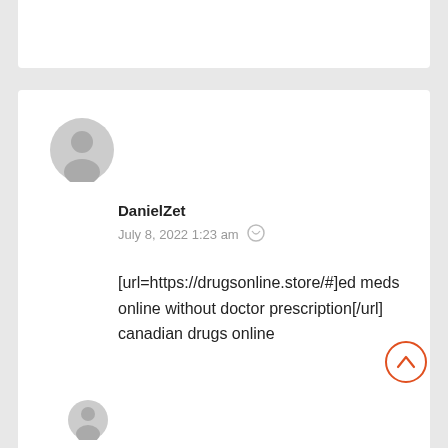[Figure (illustration): Generic user avatar silhouette in gray circle]
DanielZet
July 8, 2022 1:23 am
[url=https://drugsonline.store/#]ed meds online without doctor prescription[/url] canadian drugs online
[Figure (illustration): Orange circle scroll-to-top button with up chevron arrow]
[Figure (illustration): Partial gray avatar at bottom of page]